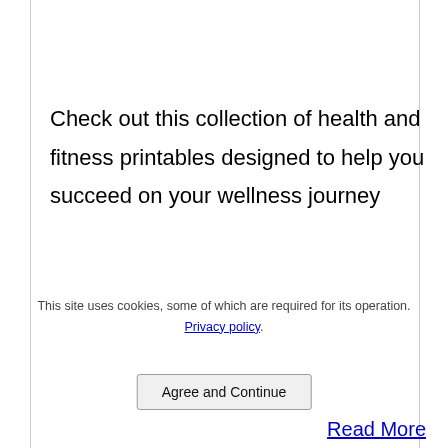Check out this collection of health and fitness printables designed to help you succeed on your wellness journey
Read More
3 Tips to Make a Rich Effective Coconut Milk Smoothie for Weight Loss
This site uses cookies, some of which are required for its operation. Privacy policy.
Agree and Continue